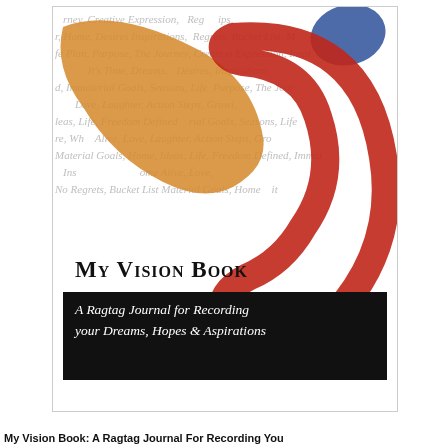[Figure (illustration): Book cover of 'My Vision Book: A Ragtag Journal for Recording your Dreams, Hopes & Aspirations'. The cover features large abstract brush strokes in orange/gold, red, olive green, and blue against a white background with light gray italic text repeating words like Journey, Creative Expression, Inspirations, Regrets, Bucket List, Life Plan, Purpose, Desires, Immaterial Goals, Seasons, Love, Laughter, Action Steps, Growth, Freedom, Home, Ideas. The title 'My Vision Book' is in large small-caps serif font, and below it a black bar contains the subtitle in italic white text.]
My Vision Book: A Ragtag Journal For Recording You